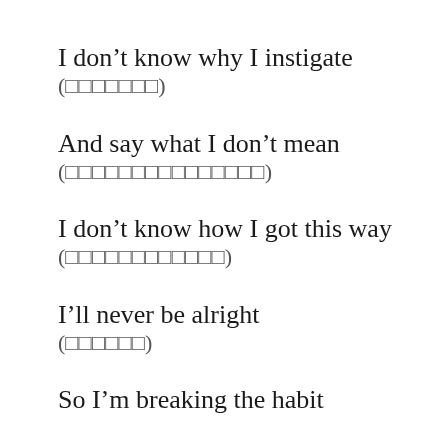I don't know why I instigate
(​​​​​​​)
And say what I don't mean
(​​​​​​​​​​​​​​​)
I don't know how I got this way
(​​​​​​​​​​​​)
I'll never be alright
(​​​​​​)
So I'm breaking the habit